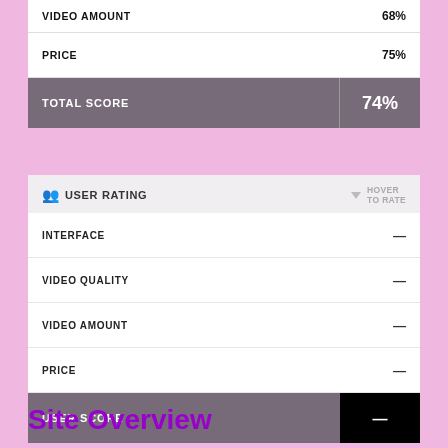| Category | Score |
| --- | --- |
| VIDEO AMOUNT | 68% |
| PRICE | 75% |
| TOTAL SCORE | 74% |
USER RATING
| Category | Score |
| --- | --- |
| INTERFACE | — |
| VIDEO QUALITY | — |
| VIDEO AMOUNT | — |
| PRICE | — |
| USER SCORE | — |
Site Overview